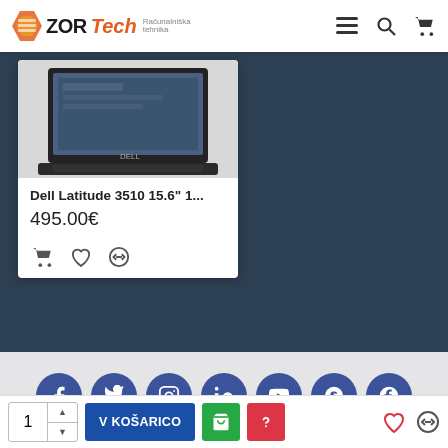ZORTech - e-commerce website header with logo, menu, search, and cart icons
[Figure (screenshot): Product card showing Dell laptop image (partially cropped at top), product name 'Dell Latitude 3510 15.6" 1...', price '495.00€', and action icons (cart, wishlist, compare) on a dark blue background]
Dell Latitude 3510 15.6" 1...
495.00€
[Figure (infographic): Social media icons row: Facebook, Twitter, Instagram, LinkedIn, YouTube, Skype, Google+ - all in dark blue circles on light grey background]
Informacije
1  V KOŠARICO  [bag icon]  [question icon]  [heart icon]  [compare icon]